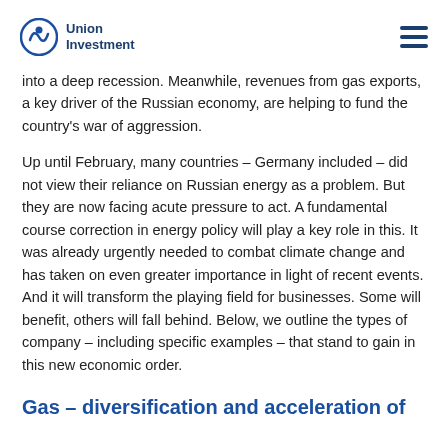Union Investment
into a deep recession. Meanwhile, revenues from gas exports, a key driver of the Russian economy, are helping to fund the country’s war of aggression.
Up until February, many countries – Germany included – did not view their reliance on Russian energy as a problem. But they are now facing acute pressure to act. A fundamental course correction in energy policy will play a key role in this. It was already urgently needed to combat climate change and has taken on even greater importance in light of recent events. And it will transform the playing field for businesses. Some will benefit, others will fall behind. Below, we outline the types of company – including specific examples – that stand to gain in this new economic order.
Gas – diversification and acceleration of